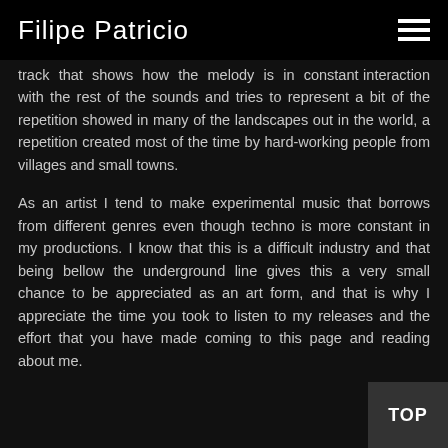Filipe Patricio
track that shows how the melody is in constant interaction with the rest of the sounds and tries to represent a bit of the repetition showed in many of the landscapes out in the world, a repetition created most of the time by hard-working people from villages and small towns.
As an artist I tend to make experimental music that borrows from different genres even though techno is more constant in my productions. I know that this is a difficult industry and that being bellow the underground line gives this a very small chance to be appreciated as an art form, and that is why I appreciate the time you took to listen to my releases and the effort that you have made coming to this page and reading about me.